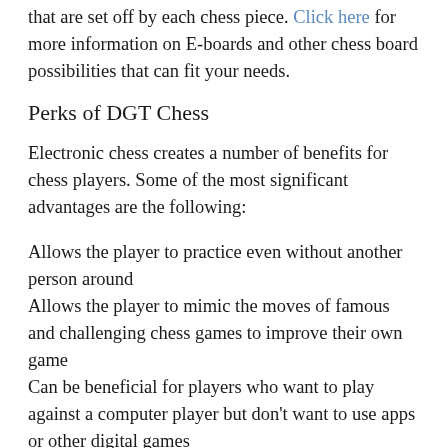that are set off by each chess piece. Click here for more information on E-boards and other chess board possibilities that can fit your needs.
Perks of DGT Chess
Electronic chess creates a number of benefits for chess players. Some of the most significant advantages are the following:
Allows the player to practice even without another person around
Allows the player to mimic the moves of famous and challenging chess games to improve their own game
Can be beneficial for players who want to play against a computer player but don't want to use apps or other digital games
Ideal for practicing for tournaments and other professional chess games
You can find a wide array of electronic chess sets at